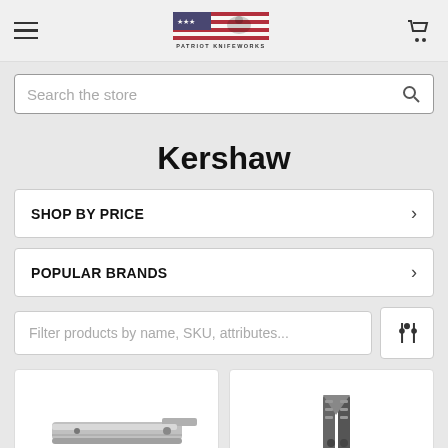[Figure (logo): Patriot Knifeworks logo with American flag eagle and text]
Search the store
Kershaw
SHOP BY PRICE
POPULAR BRANDS
Filter products by name, SKU, attributes...
[Figure (photo): Kershaw folding pocket knife, silver/steel, viewed from side]
[Figure (photo): Kershaw balisong/butterfly knife, dark handle, partial view]